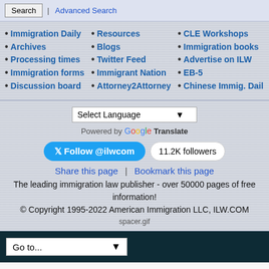Search | Advanced Search
• Immigration Daily • Archives • Processing times • Immigration forms • Discussion board
• Resources • Blogs • Twitter Feed • Immigrant Nation • Attorney2Attorney
• CLE Workshops • Immigration books • Advertise on ILW • EB-5 • Chinese Immig. Daily
Select Language - Powered by Google Translate
Follow @ilwcom  11.2K followers
Share this page | Bookmark this page
The leading immigration law publisher - over 50000 pages of free information!
© Copyright 1995-2022 American Immigration LLC, ILW.COM
spacer.gif
Go to...
© Copyright 1995-2017 American Immigration LLC, ILW.COM
Powered by vBulletin® Version 5.5.4
Copyright © 2022 MH Sub I, LLC dba vBulletin. All rights reserved.
All times are GMT-5. This page was generated at 10:23 PM.